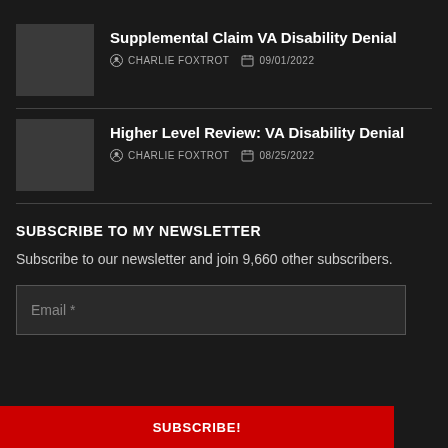Supplemental Claim VA Disability Denial
CHARLIE FOXTROT  09/01/2022
Higher Level Review: VA Disability Denial
CHARLIE FOXTROT  08/25/2022
SUBSCRIBE TO MY NEWSLETTER
Subscribe to our newsletter and join 9,660 other subscribers.
Email *
SUBSCRIBE!